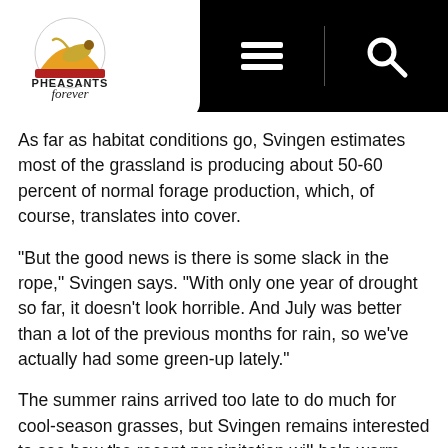Pheasants Forever – The Habitat Organization
As far as habitat conditions go, Svingen estimates most of the grassland is producing about 50-60 percent of normal forage production, which, of course, translates into cover.
"But the good news is there is some slack in the rope," Svingen says. "With only one year of drought so far, it doesn't look horrible. And July was better than a lot of the previous months for rain, so we've actually had some green-up lately."
The summer rains arrived too late to do much for cool-season grasses, but Svingen remains interested to see how the recent precipitation will help warm-season grasses across the grassland.
"Fall will be very critical, and I'm hopeful for fall rain to be average to bolster residual cover for next spring," he says. "If we get enough rains to bring the grasses out of dormancy, it will set them up well for the following spring and be beneficial